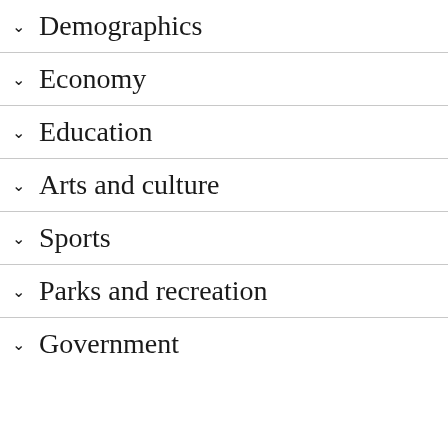Demographics
Economy
Education
Arts and culture
Sports
Parks and recreation
Government